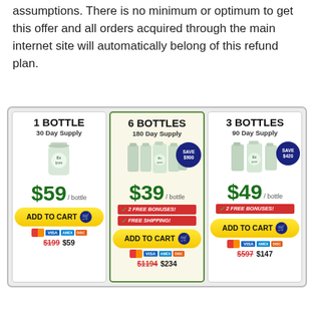assumptions. There is no minimum or optimum to get this offer and all orders acquired through the main internet site will automatically belong of this refund plan.
[Figure (infographic): Three product pricing cards for Exipure supplement: 1 Bottle 30 Day Supply $59/bottle (ADD TO CART, $199 $59); 6 Bottles 180 Day Supply $39/bottle with SAVE $900 badge, 2 FREE BONUSES, FREE SHIPPING (ADD TO CART, $1194 $234); 3 Bottles 90 Day Supply $49/bottle with SAVE $420 badge, 2 FREE BONUSES (ADD TO CART, $597 $147).]